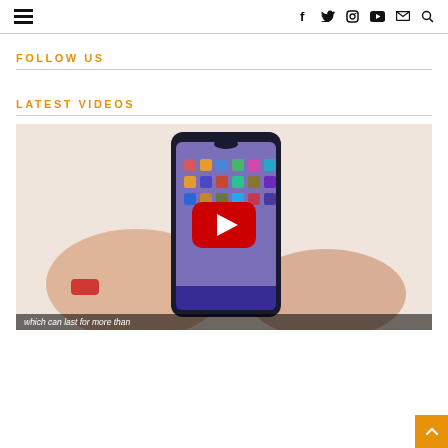Navigation bar with hamburger menu and social icons (facebook, twitter, instagram, youtube, email, search)
FOLLOW US
LATEST VIDEOS
[Figure (screenshot): Video thumbnail showing hands holding a smartphone displaying a purple app grid screen, with a red YouTube play button overlay. Caption reads 'which can last for more than']